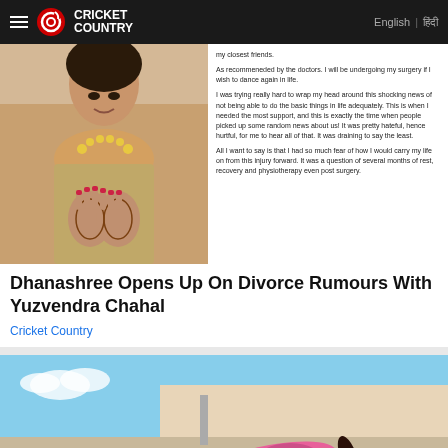Cricket Country | English | हिंदी
[Figure (photo): Woman in traditional Indian attire with jewelry, hands folded in prayer position, with mehndi/henna on hands]
my closest friends.

As recommeneded by the doctors. I will be undergoing my surgery if I wish to dance again in life.

I was trying really hard to wrap my head around this shocking news of not being able to do the basic things in life adequately. This is when I needed the most support, and this is exactly the time when people picked up some random news about us! It was pretty hateful, hence hurtful, for me to hear all of that. It was draining to say the least.

All I want to say is that I had so much fear of how I would carry my life on from this injury forward. It was a question of several months of rest, recovery and physiotherapy even post surgery.
Dhanashree Opens Up On Divorce Rumours With Yuzvendra Chahal
Cricket Country
[Figure (photo): Woman in pink athletic wear doing a plank/workout pose on a rooftop]
[Figure (infographic): BitLife - Life Simulator advertisement banner with game icon and Install button]